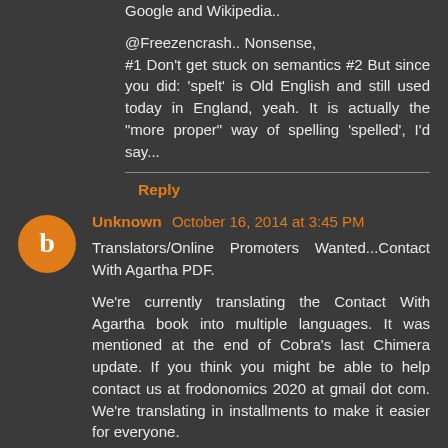Google and Wikipedia..
@Freezencrash.. Nonsense,
#1 Don't get stuck on semantics #2 But since you did: 'spelt' is Old English and still used today in England, yeah. It is actually the "more proper" way of spelling 'spelled', I'd say...
Reply
Unknown October 16, 2014 at 3:45 PM
Translators/Online Promoters Wanted...Contact With Agartha PDF.
We're currently translating the Contact With Agartha book into multiple languages. It was mentioned at the end of Cobra's last Chimera update. If you think you might be able to help contact us at frodonomics 2020 at gmail dot com. We're translating in installments to make it easier for everyone.